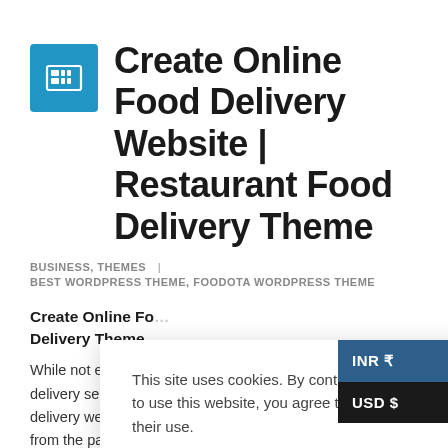Create Online Food Delivery Website | Restaurant Food Delivery Theme
BUSINESS, THEMES  |
BEST WORDPRESS THEME, FOODOTA WORDPRESS THEME
Create Online Food Delivery Theme
While not every re... delivery services, f... delivery website is... from the pack. And let's face it, the best sites in this niche all have a
This site uses cookies. By contin... to use this website, you agree to their use.
Cookie settings
ACCEPT
INR ₹
USD $